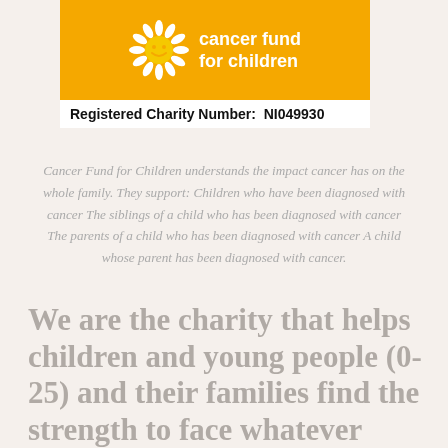[Figure (logo): Cancer Fund for Children logo with orange/yellow background, sun mascot, and white text reading 'cancer fund for children']
Registered Charity Number:  NI049930
Cancer Fund for Children understands the impact cancer has on the whole family. They support: Children who have been diagnosed with cancer The siblings of a child who has been diagnosed with cancer The parents of a child who has been diagnosed with cancer A child whose parent has been diagnosed with cancer.
We are the charity that helps children and young people (0-25) and their families find the strength to face whatever cancer throws at them.